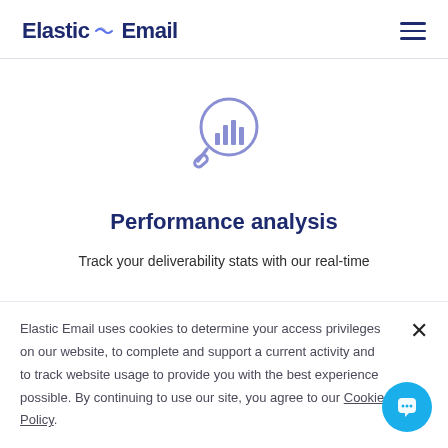Elastic Email
[Figure (illustration): Magnifying glass icon with bar chart inside, rendered in purple/lavender outline style]
Performance analysis
Track your deliverability stats with our real-time
Elastic Email uses cookies to determine your access privileges on our website, to complete and support a current activity and to track website usage to provide you with the best experience possible. By continuing to use our site, you agree to our Cookie Policy.